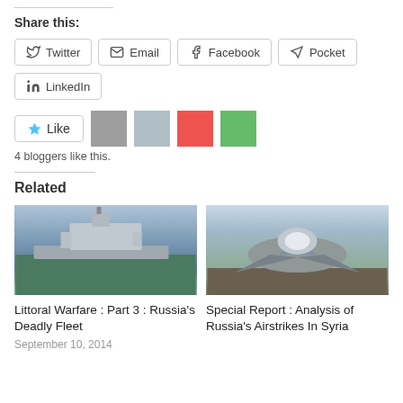Share this:
Twitter
Email
Facebook
Pocket
LinkedIn
Like
4 bloggers like this.
Related
[Figure (photo): Russian naval warship (corvette/frigate) at sea]
Littoral Warfare : Part 3 : Russia’s Deadly Fleet
September 10, 2014
[Figure (photo): Russian Su-34 fighter jet on runway]
Special Report : Analysis of Russia’s Airstrikes In Syria